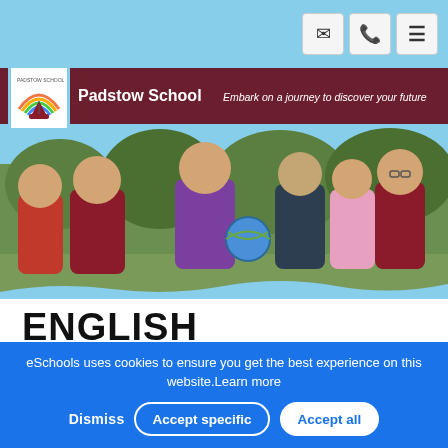Padstow School — Embark on a journey to discover your future
[Figure (photo): Group of smiling schoolchildren in school uniforms outdoors]
ENGLISH
Today a Reader, Tomorrow a Leader
Margaret Fuller
eSchools uses cookies to ensure you get the best experience on this website.Learn more